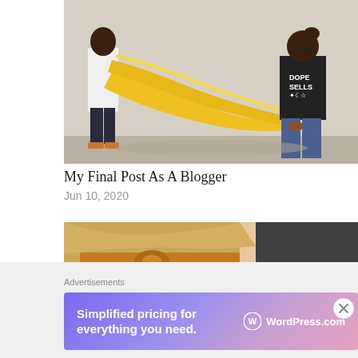[Figure (photo): Two people holding a large yellow fabric/cloth outdoors against a concrete wall. One person in a white shirt on the left, one in a black t-shirt reading 'DOPE SELLS' on the right wearing jeans.]
My Final Post As A Blogger
Jun 10, 2020
[Figure (photo): Close-up of a person's face/head showing blonde hair with an orange/mustard knotted headband. Partially cropped, showing forehead and eyes area.]
Advertisements
[Figure (other): WordPress.com advertisement banner with gradient purple/pink background. Text reads: 'Simplified pricing for everything you need.' with WordPress.com logo on the right.]